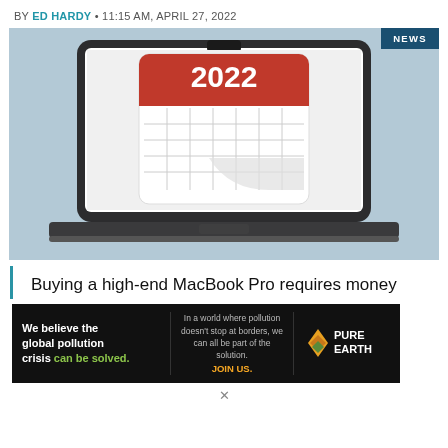BY ED HARDY • 11:15 AM, APRIL 27, 2022
[Figure (illustration): Illustration of a MacBook Pro laptop displaying a 2022 calendar on screen, with a 'NEWS' badge in the top-right corner, on a light blue background.]
Buying a high-end MacBook Pro requires money
[Figure (infographic): Pure Earth advertisement banner: 'We believe the global pollution crisis can be solved. In a world where pollution doesn't stop at borders, we can all be part of the solution. JOIN US.' with Pure Earth logo.]